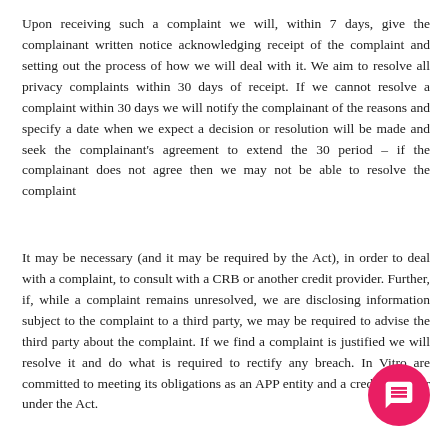Upon receiving such a complaint we will, within 7 days, give the complainant written notice acknowledging receipt of the complaint and setting out the process of how we will deal with it. We aim to resolve all privacy complaints within 30 days of receipt. If we cannot resolve a complaint within 30 days we will notify the complainant of the reasons and specify a date when we expect a decision or resolution will be made and seek the complainant's agreement to extend the 30 period – if the complainant does not agree then we may not be able to resolve the complaint
It may be necessary (and it may be required by the Act), in order to deal with a complaint, to consult with a CRB or another credit provider. Further, if, while a complaint remains unresolved, we are disclosing information subject to the complaint to a third party, we may be required to advise the third party about the complaint. If we find a complaint is justified we will resolve it and do what is required to rectify any breach. In Vitro are committed to meeting its obligations as an APP entity and a credit provider under the Act.